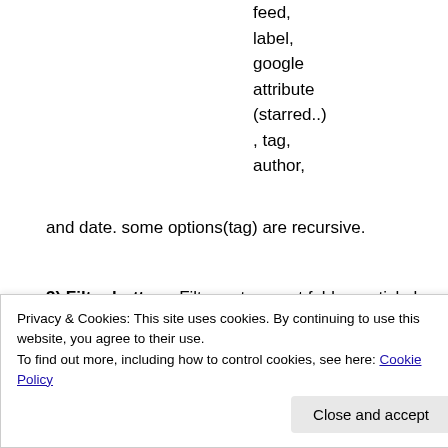feed, label, google attribute (starred..), tag, author, and date. some options(tag) are recursive.
3) Filter button : Filter out current folders article by read/unread, facebook like count, google reader like count...
4) Button for article menu activation : When tanned
Privacy & Cookies: This site uses cookies. By continuing to use this website, you agree to their use. To find out more, including how to control cookies, see here: Cookie Policy
Close and accept